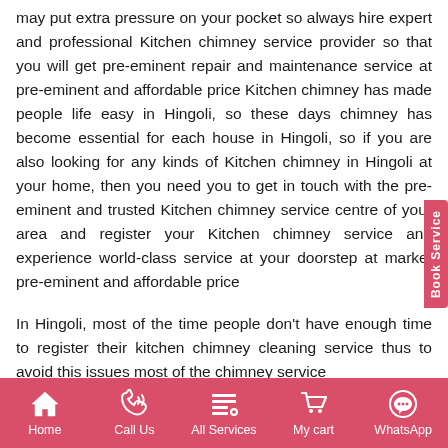may put extra pressure on your pocket so always hire expert and professional Kitchen chimney service provider so that you will get pre-eminent repair and maintenance service at pre-eminent and affordable price Kitchen chimney has made people life easy in Hingoli, so these days chimney has become essential for each house in Hingoli, so if you are also looking for any kinds of Kitchen chimney in Hingoli at your home, then you need you to get in touch with the pre-eminent and trusted Kitchen chimney service centre of your area and register your Kitchen chimney service and experience world-class service at your doorstep at market pre-eminent and affordable price
In Hingoli, most of the time people don't have enough time to register their kitchen chimney cleaning service thus to avoid this issues most of the chimney service
Home | Call Us | All Services | My cart | WhatsApp